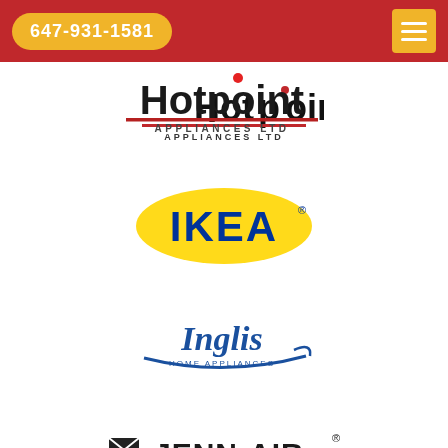647-931-1581
[Figure (logo): Hotpoint Appliances Ltd logo - black bold text 'Hotpoint' with red dot over i, red underline, 'APPLIANCES LTD' in smaller text below]
[Figure (logo): IKEA logo - yellow oval with blue bold text 'IKEA' and registered trademark symbol]
[Figure (logo): Inglis Home Appliances logo - blue italic script text 'Inglis' with swoosh, 'HOME APPLIANCES' in smaller text]
[Figure (logo): Jenn-Air logo - black bold text 'JENN-AIR' with registered trademark, envelope/wing icon to the left]